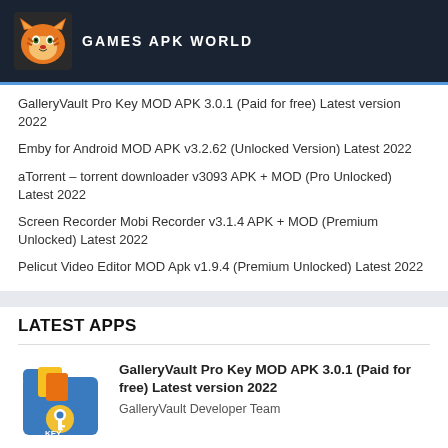[Figure (logo): Games APK World logo with tiger icon on dark navy background]
GalleryVault Pro Key MOD APK 3.0.1 (Paid for free) Latest version 2022
Emby for Android MOD APK v3.2.62 (Unlocked Version) Latest 2022
aTorrent – torrent downloader v3093 APK + MOD (Pro Unlocked) Latest 2022
Screen Recorder Mobi Recorder v3.1.4 APK + MOD (Premium Unlocked) Latest 2022
Pelicut Video Editor MOD Apk v1.9.4 (Premium Unlocked) Latest 2022
LATEST APPS
[Figure (screenshot): GalleryVault app icon - blue folder with key icon in orange/yellow]
GalleryVault Pro Key MOD APK 3.0.1 (Paid for free) Latest version 2022
GalleryVault Developer Team